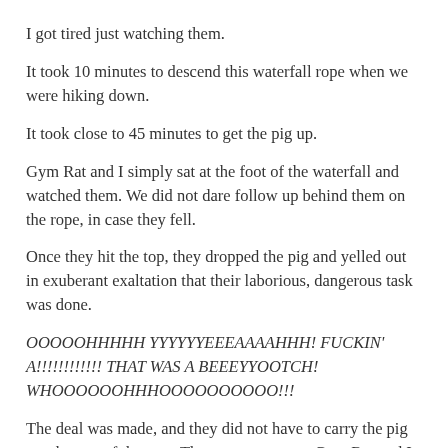I got tired just watching them.
It took 10 minutes to descend this waterfall rope when we were hiking down.
It took close to 45 minutes to get the pig up.
Gym Rat and I simply sat at the foot of the waterfall and watched them. We did not dare follow up behind them on the rope, in case they fell.
Once they hit the top, they dropped the pig and yelled out in exuberant exaltation that their laborious, dangerous task was done.
OOOOOHHHHH YYYYYYEEEAAAAHHH! FUCKIN' A!!!!!!!!!!!! THAT WAS A BEEEYYOOTCH! WHOOOOOOHHHOOOOOOOOOO!!!
The deal was made, and they did not have to carry the pig out the rest of the way. That was now up to Gym Rat and I.